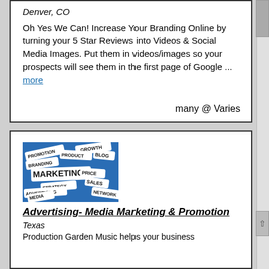Denver, CO
Oh Yes We Can! Increase Your Branding Online by turning your 5 Star Reviews into Videos & Social Media Images. Put them in videos/images so your prospects will see them in the first page of Google ... more
many @ Varies
[Figure (photo): Marketing concept image on blue background with paper tags reading: PROMOTION, BRANDING, PRODUCT, BLOG, MARKETING, STRATEGY, PRICE, SALES, ADVERTISING, MEDIA, NETWORK, GROWTH]
Advertising- Media Marketing & Promotion
Texas
Production Garden Music helps your business